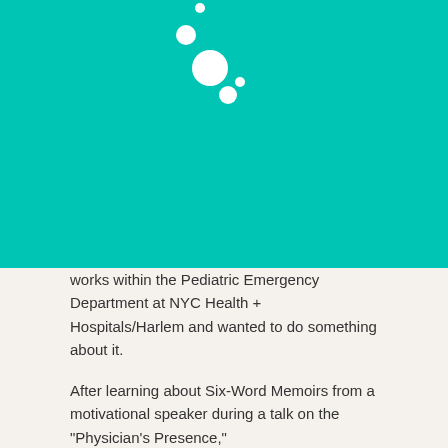[Figure (illustration): Teal/turquoise background with decorative white dots of varying sizes scattered in the upper portion]
works within the Pediatric Emergency Department at NYC Health + Hospitals/Harlem and wanted to do something about it.

After learning about Six-Word Memoirs from a motivational speaker during a talk on the "Physician's Presence,"